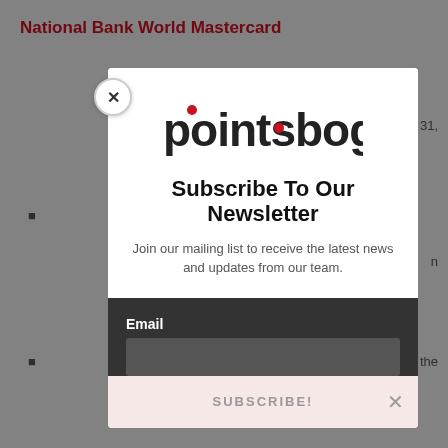National Bank World Mastercard
(bullet content partially visible) ...31,
(bullet content partially visible) ...n
(bullet content partially visible) ...n the
(bullet content partially visible)
(bullet content partially visible) ...nt. Or
Natio...
(bullet content partially visible) ...31,
(bullet content partially visible)
(bullet content partially visible) ...ite
[Figure (screenshot): Modal popup overlay for 'pointsbogger' newsletter subscription. Contains logo, 'Subscribe To Our Newsletter' heading, body text 'Join our mailing list to receive the latest news and updates from our team.', an Email input field, and a SUBSCRIBE! button. The modal has a white upper section and dark lower section. A circular X close button appears in the top-left corner of the modal.]